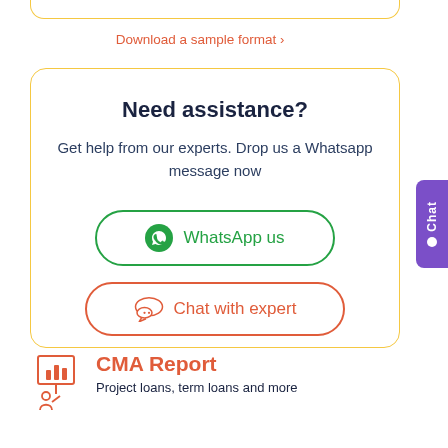Download a sample format >
Need assistance?
Get help from our experts. Drop us a Whatsapp message now
WhatsApp us
Chat with expert
CMA Report
Project loans, term loans and more